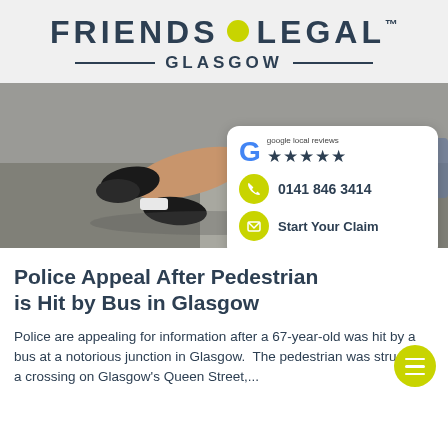FRIENDS LEGAL™ GLASGOW
[Figure (photo): Person lying on road/asphalt, only legs visible, wearing black sneakers and denim shorts, suggesting a pedestrian accident scene.]
[Figure (infographic): Floating card overlay showing Google 5-star local reviews, phone number 0141 846 3414, and Start Your Claim button.]
Police Appeal After Pedestrian is Hit by Bus in Glasgow
Police are appealing for information after a 67-year-old was hit by a bus at a notorious junction in Glasgow.  The pedestrian was struck at a crossing on Glasgow's Queen Street,...